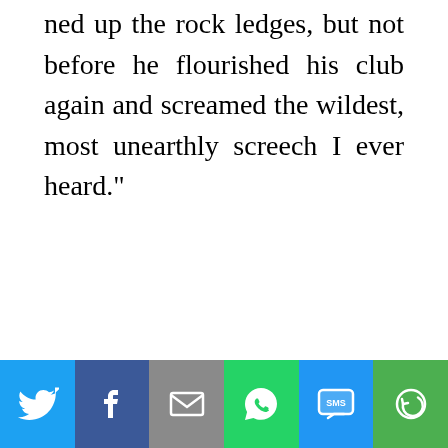ned up the rock ledges, but not before he flourished his club again and screamed the wildest, most unearthly screech I ever heard."
[Figure (other): Social media share bar with icons for Twitter, Facebook, Email, WhatsApp, SMS, and More]